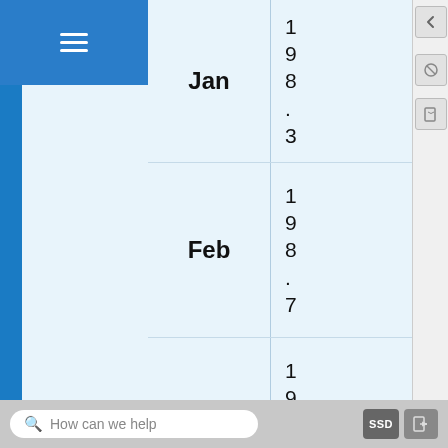| Month | Value |
| --- | --- |
| Jan | 198.3 |
| Feb | 198.7 |
| Mar | 199.8 |
| Apr | 2 |
How can we help
[Figure (screenshot): SSD button icon in bottom bar]